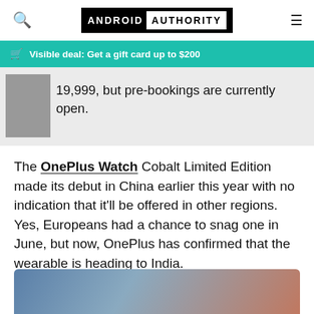ANDROID AUTHORITY
Visible deal: Get a gift card up to $200
19,999, but pre-bookings are currently open.
The OnePlus Watch Cobalt Limited Edition made its debut in China earlier this year with no indication that it'll be offered in other regions. Yes, Europeans had a chance to snag one in June, but now, OnePlus has confirmed that the wearable is heading to India.
[Figure (photo): Photo of the OnePlus Watch Cobalt Limited Edition smartwatch with blue and red bands]